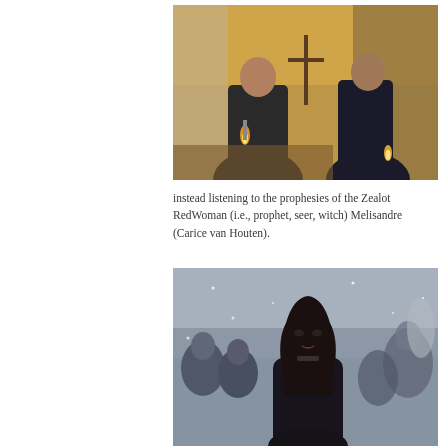[Figure (photo): Two men in dark cloaks standing inside a tent with candles and a cross-like symbol; a medieval fantasy scene]
instead listening to the prophesies of the Zealot RedWoman (i.e., prophet, seer, witch) Melisandre (Carice van Houten).
[Figure (photo): A woman with dark hair in black clothing standing in a crowd of people in a wintry, grey outdoor scene; Melisandre from Game of Thrones]